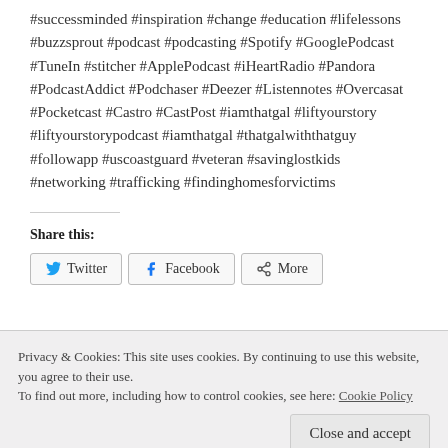#successminded #inspiration #change #education #lifelessons #buzzsprout #podcast #podcasting #Spotify #GooglePodcast #TuneIn #stitcher #ApplePodcast #iHeartRadio #Pandora #PodcastAddict #Podchaser #Deezer #Listennotes #Overcasat #Pocketcast #Castro #CastPost #iamthatgal #liftyourstory #liftyourstorypodcast #iamthatgal #thatgalwiththatguy #followapp #uscoastguard #veteran #savinglostkids #networking #trafficking #findinghomesforvictims
Share this:
Twitter  Facebook  More
Privacy & Cookies: This site uses cookies. By continuing to use this website, you agree to their use. To find out more, including how to control cookies, see here: Cookie Policy
Close and accept
trafficking in the us, end child trafficking, finding your contacts in a